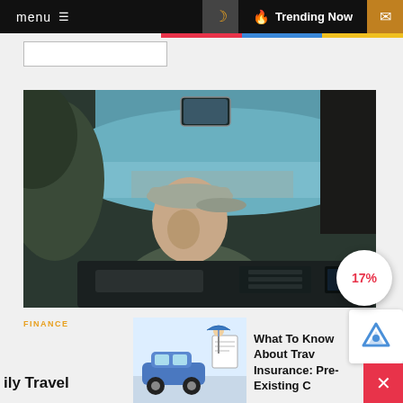menu  ≡  🌙  🔥 Trending Now  ✉
[Figure (photo): Interior view from back seat of a car: man wearing grey baseball cap driving, windshield shows road and landscape ahead, dashboard visible]
17%
FINANCE
ily Travel
[Figure (illustration): Small illustration of a car with travel/insurance related imagery]
What To Know About Trav Insurance: Pre-Existing C